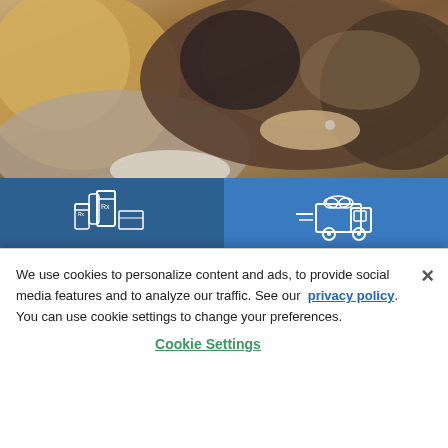[Figure (photo): Woman with blonde hair lying down face-to-face with a large dog (German Shepherd mix) outdoors in grass/field setting]
[Figure (infographic): Blue panel with white icon of prescription bottles. Text: Time to refill your pet's prescription? No need to leave the house. Refill Now →]
[Figure (infographic): Blue panel with white delivery truck icon. Text: Running low on pet food? Get it delivered right to your door. Shop Food →]
[Figure (infographic): Dark blue panel with myPCA app icon on a smartphone]
[Figure (infographic): Light gray panel with myPCA loyalty/reward program illustration]
We use cookies to personalize content and ads, to provide social media features and to analyze our traffic. See our privacy policy. You can use cookie settings to change your preferences.
Cookie Settings